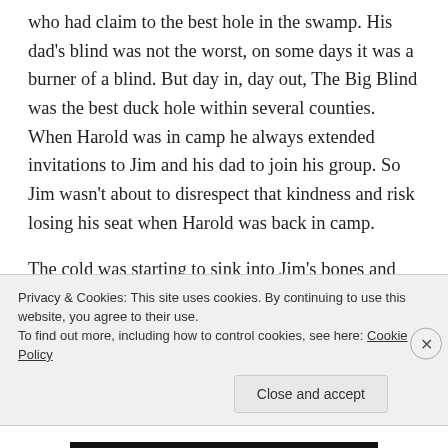who had claim to the best hole in the swamp. His dad's blind was not the worst, on some days it was a burner of a blind. But day in, day out, The Big Blind was the best duck hole within several counties. When Harold was in camp he always extended invitations to Jim and his dad to join his group. So Jim wasn't about to disrespect that kindness and risk losing his seat when Harold was back in camp.
The cold was starting to sink into Jim's bones and the thought of a heater and a hot can of soup was getting the better of him. What his father's blind may have
Privacy & Cookies: This site uses cookies. By continuing to use this website, you agree to their use.
To find out more, including how to control cookies, see here: Cookie Policy
Close and accept